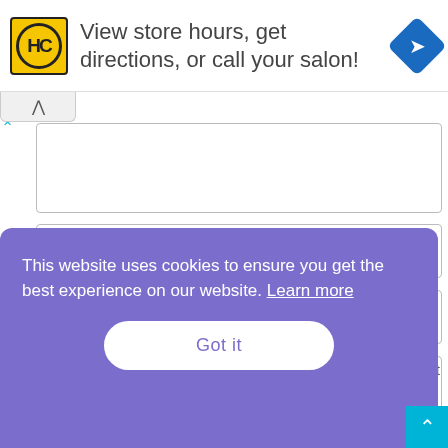[Figure (screenshot): Advertisement banner with HC logo, text 'View store hours, get directions, or call your salon!' and blue navigation diamond icon]
Name:*
Email:*
Website (partial, obscured by cookie banner)
This website uses cookies to ensure you get the best experience on our website. Learn more
Got it
e next
I'm not a robot